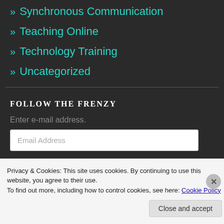» Synchronous Communication
» Teaching Online
» Technology Training
» Uncategorized
FOLLOW THE FRENZY
Enter e-mail address.
Privacy & Cookies: This site uses cookies. By continuing to use this website, you agree to their use.
To find out more, including how to control cookies, see here: Cookie Policy
Close and accept